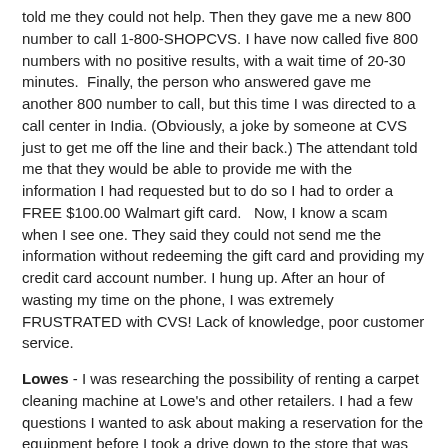told me they could not help. Then they gave me a new 800 number to call 1-800-SHOPCVS. I have now called five 800 numbers with no positive results, with a wait time of 20-30 minutes. Finally, the person who answered gave me another 800 number to call, but this time I was directed to a call center in India. (Obviously, a joke by someone at CVS just to get me off the line and their back.) The attendant told me that they would be able to provide me with the information I had requested but to do so I had to order a FREE $100.00 Walmart gift card. Now, I know a scam when I see one. They said they could not send me the information without redeeming the gift card and providing my credit card account number. I hung up. After an hour of wasting my time on the phone, I was extremely FRUSTRATED with CVS! Lack of knowledge, poor customer service.
Lowes - I was researching the possibility of renting a carpet cleaning machine at Lowe's and other retailers. I had a few questions I wanted to ask about making a reservation for the equipment before I took a drive down to the store that was 40 minutes away. I called three times a day for three days and did not get anyone in their Dedham Massachusetts store (the nearest one to my house) to answer the phone. Three freaking days! On one occasion I let the phone ring for